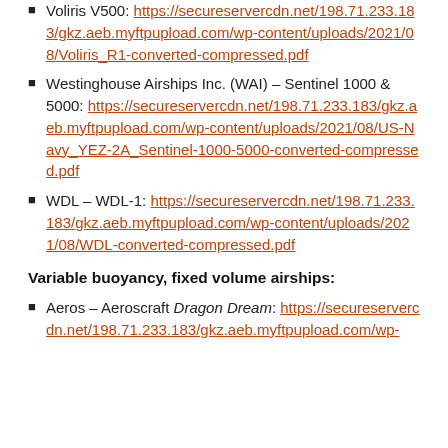Voliris V500: https://secureservercdn.net/198.71.233.183/gkz.aeb.myftpupload.com/wp-content/uploads/2021/08/Voliris_R1-converted-compressed.pdf
Westinghouse Airships Inc. (WAI) – Sentinel 1000 & 5000: https://secureservercdn.net/198.71.233.183/gkz.aeb.myftpupload.com/wp-content/uploads/2021/08/US-Navy_YEZ-2A_Sentinel-1000-5000-converted-compressed.pdf
WDL – WDL-1: https://secureservercdn.net/198.71.233.183/gkz.aeb.myftpupload.com/wp-content/uploads/2021/08/WDL-converted-compressed.pdf
Variable buoyancy, fixed volume airships:
Aeros – Aeroscraft Dragon Dream: https://secureservercdn.net/198.71.233.183/gkz.aeb.myftpupload.com/wp-